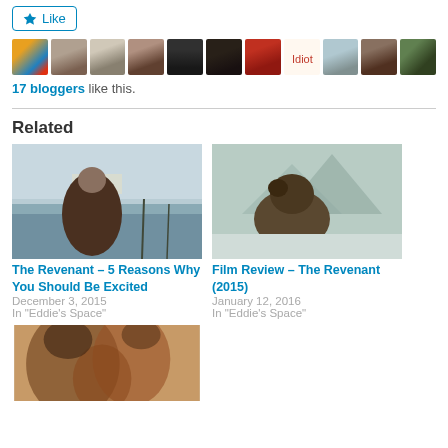[Figure (infographic): Like button and row of 11 blogger avatar thumbnails]
17 bloggers like this.
Related
[Figure (photo): The Revenant movie still – man in fur coat in snowy landscape]
The Revenant – 5 Reasons Why You Should Be Excited
December 3, 2015
In "Eddie's Space"
[Figure (photo): The Revenant movie still – bear in snowy misty landscape]
Film Review – The Revenant (2015)
January 12, 2016
In "Eddie's Space"
[Figure (photo): Movie poster with overlapping faces of characters in warm tones]